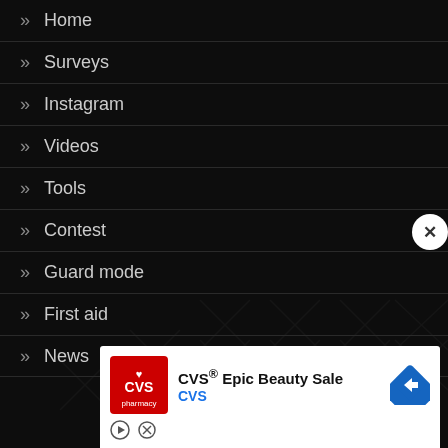» Home
» Surveys
» Instagram
» Videos
» Tools
» Contest
» Guard mode
» First aid
» News (partially visible)
[Figure (screenshot): CVS pharmacy advertisement banner with red CVS logo, text 'CVS® Epic Beauty Sale' and 'CVS' in blue, with a blue diamond navigation arrow icon on the right. Below are small play and close buttons.]